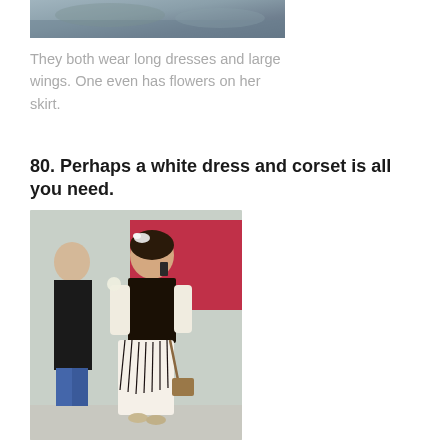[Figure (photo): Partial top crop of a photo showing two figures wearing long dresses and large wings, one with flowers on her skirt.]
They both wear long dresses and large wings. One even has flowers on her skirt.
80. Perhaps a white dress and corset is all you need.
[Figure (photo): A woman wearing a white dress with a black lace corset, fringe accents, and a floral headband, talking on a phone while walking on a street. Another person in a black jacket is visible behind her.]